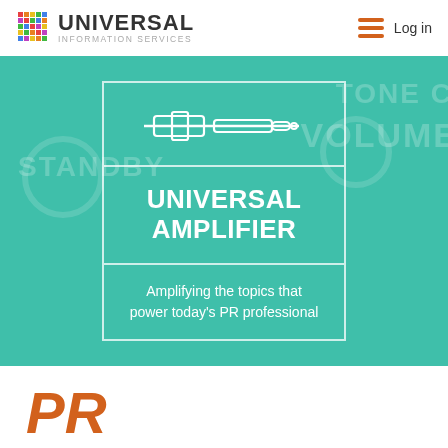UNIVERSAL Information Services | Log in
[Figure (screenshot): Hero banner with teal/green background showing an audio amplifier-themed graphic. Contains a centered white-bordered card with: audio jack icon at top, large text 'UNIVERSAL AMPLIFIER' in middle, and subtitle text 'Amplifying the topics that power today's PR professional' at bottom. Background shows faded text 'STANDBY', 'VOLUME', 'TONE' and circular knob graphics.]
UNIVERSAL AMPLIFIER
Amplifying the topics that power today's PR professional
PR